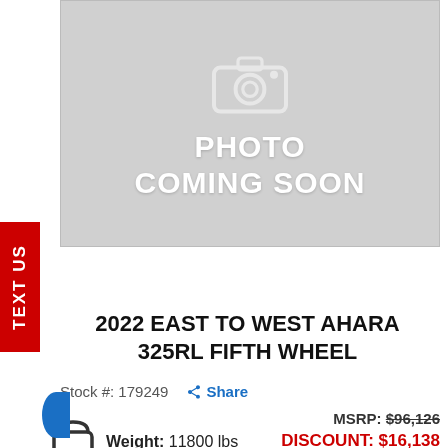[Figure (photo): Photo coming soon placeholder with camera icon on grey background]
2022 EAST TO WEST AHARA 325RL FIFTH WHEEL
Stock #: 179249
Share
Weight: 11800 lbs
MSRP: $96,126
DISCOUNT: $16,138
PRICE: $79,988